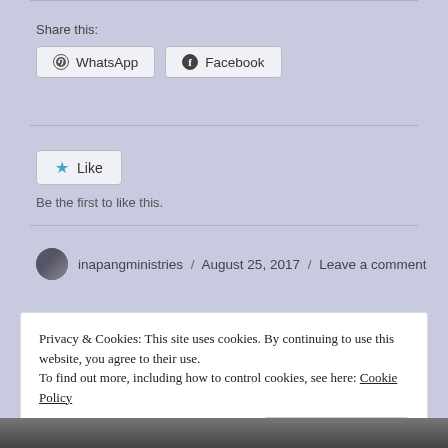Share this:
WhatsApp
Facebook
Like
Be the first to like this.
inapangministries / August 25, 2017 / Leave a comment
Privacy & Cookies: This site uses cookies. By continuing to use this website, you agree to their use.
To find out more, including how to control cookies, see here: Cookie Policy
Close and accept
[Figure (photo): Partial view of a building or structure at the bottom of the page]